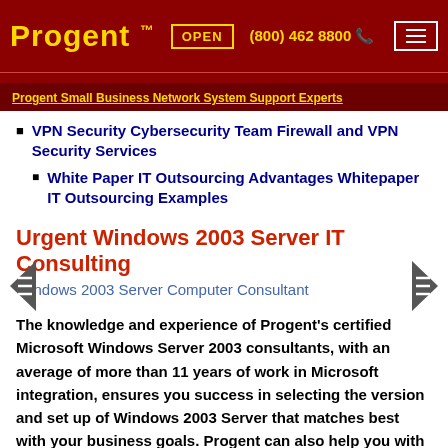Progent™   OPEN   (800) 462 8800
Progent Small Business Network System Support Experts
VPN Security Cybersecurity Team Firewall and VPN Security Services
White Paper IT Outsourcing Advantages Whitepaper IT Outsourcing Examples
Urgent Windows 2003 Server IT Consulting
Windows 2003 Server Computer Consultant
The knowledge and experience of Progent's certified Microsoft Windows Server 2003 consultants, with an average of more than 11 years of work in Microsoft integration, ensures you success in selecting the version and set up of Windows 2003 Server that matches best with your business goals. Progent can also help you with planning, deploying, managing and supporting sophisticated IT applications based on Microsoft Windows Server 2003, and can assist your migration from